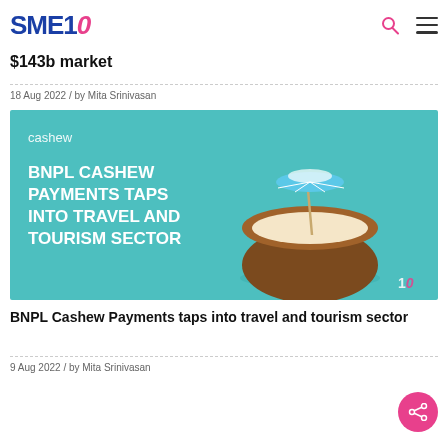SME10
$143b market
18 Aug 2022 / by Mita Srinivasan
[Figure (illustration): Promotional image for BNPL Cashew Payments taps into travel and tourism sector. Teal background with a coconut half topped with a cocktail umbrella. Text reads: cashew, BNPL CASHEW PAYMENTS TAPS INTO TRAVEL AND TOURISM SECTOR]
BNPL Cashew Payments taps into travel and tourism sector
9 Aug 2022 / by Mita Srinivasan